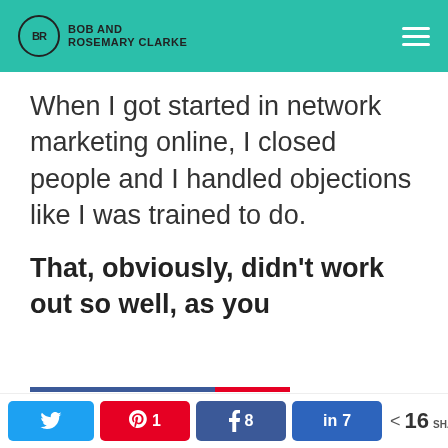Bob and Rosemary Clarke
When I got started in network marketing online, I closed people and I handled objections like I was trained to do.
That, obviously, didn't work out so well, as you
Twitter share, Pinterest 1, Facebook 8, LinkedIn 7, 16 SHARES